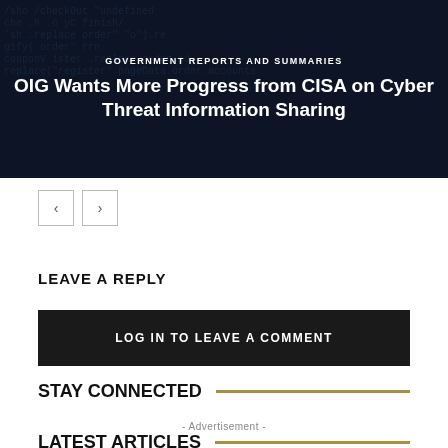[Figure (screenshot): Hero banner with dark code-text background showing article: 'GOVERNMENT REPORTS AND SUMMARIES' category label and title 'OIG Wants More Progress from CISA on Cyber Threat Information Sharing']
< >
LEAVE A REPLY
LOG IN TO LEAVE A COMMENT
STAY CONNECTED
- Advertisement -
LATEST ARTICLES